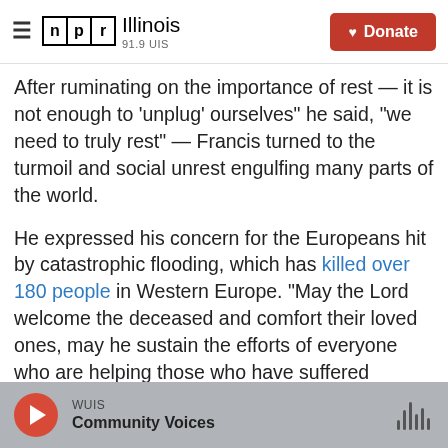NPR Illinois 91.9 UIS | Donate
After ruminating on the importance of rest — it is not enough to 'unplug' ourselves" he said, "we need to truly rest" — Francis turned to the turmoil and social unrest engulfing many parts of the world.
He expressed his concern for the Europeans hit by catastrophic flooding, which has killed over 180 people in Western Europe. "May the Lord welcome the deceased and comfort their loved ones, may he sustain the efforts of everyone who are helping those who have suffered serious damage," the pope said, according to a translation provided by the Vatican.
WUIS Community Voices